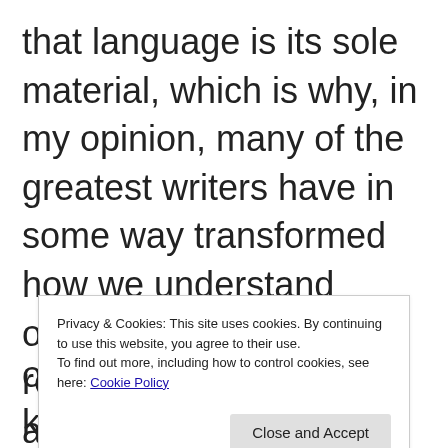that language is its sole material, which is why, in my opinion, many of the greatest writers have in some way transformed how we understand ourselves and how we relate to the world. Just as an
Privacy & Cookies: This site uses cookies. By continuing to use this website, you agree to their use.
To find out more, including how to control cookies, see here: Cookie Policy
of the gaps in their knowledge